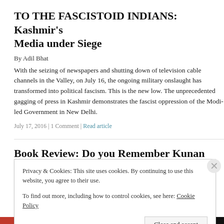TO THE FASCISTOID INDIANS: Kashmir’s Media under Siege
By Adil Bhat
With the seizing of newspapers and shutting down of television cable channels in the Valley, on July 16, the ongoing military onslaught has transformed into political fascism. This is the new low. The unprecedented gagging of press in Kashmir demonstrates the fascist oppression of the Modi-led Government in New Delhi.
July 17, 2016 | 1 Comment | Read article
Book Review: Do you Remember Kunan Poshpora?
Privacy & Cookies: This site uses cookies. By continuing to use this website, you agree to their use.
To find out more, including how to control cookies, see here: Cookie Policy